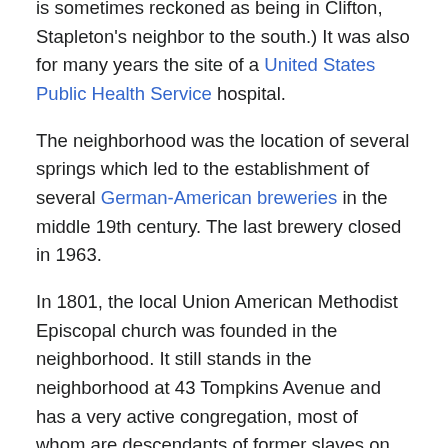is sometimes reckoned as being in Clifton, Stapleton's neighbor to the south.) It was also for many years the site of a United States Public Health Service hospital.
The neighborhood was the location of several springs which led to the establishment of several German-American breweries in the middle 19th century. The last brewery closed in 1963.
In 1801, the local Union American Methodist Episcopal church was founded in the neighborhood. It still stands in the neighborhood at 43 Tompkins Avenue and has a very active congregation, most of whom are descendants of former slaves on the Island. The church is the oldest African-American church on the Island and was founded before the Civil War. The Stapleton UAME Church is one of four black congregations on the Island which predate the 20th century.